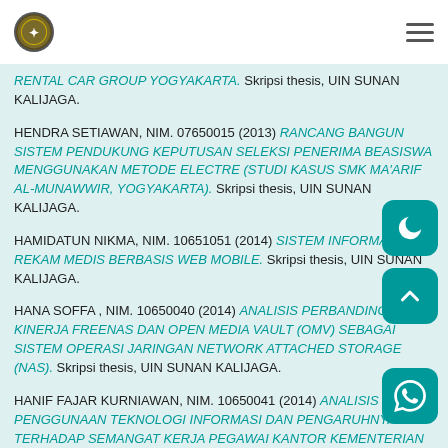UIN SUNAN KALIJAGA
RENTAL CAR GROUP YOGYAKARTA. Skripsi thesis, UIN SUNAN KALIJAGA.
HENDRA SETIAWAN, NIM. 07650015 (2013) RANCANG BANGUN SISTEM PENDUKUNG KEPUTUSAN SELEKSI PENERIMA BEASISWA MENGGUNAKAN METODE ELECTRE (STUDI KASUS SMK MA'ARIF AL-MUNAWWIR, YOGYAKARTA). Skripsi thesis, UIN SUNAN KALIJAGA.
HAMIDATUN NIKMA, NIM. 10651051 (2014) SISTEM INFORMASI REKAM MEDIS BERBASIS WEB MOBILE. Skripsi thesis, UIN SUNAN KALIJAGA.
HANA SOFFA , NIM. 10650040 (2014) ANALISIS PERBANDINGAN KINERJA FREENAS DAN OPEN MEDIA VAULT (OMV) SEBAGAI SISTEM OPERASI JARINGAN NETWORK ATTACHED STORAGE (NAS). Skripsi thesis, UIN SUNAN KALIJAGA.
HANIF FAJAR KURNIAWAN, NIM. 10650041 (2014) ANALISIS PENGGUNAAN TEKNOLOGI INFORMASI DAN PENGARUHNYA TERHADAP SEMANGAT KERJA PEGAWAI KANTOR KEMENTERIAN AGAMA DI WILAYAH...